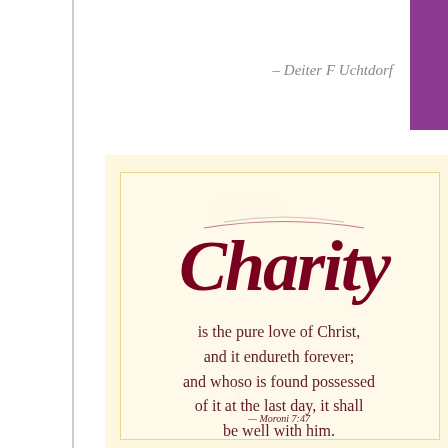- Deiter F Uchtdorf
[Figure (illustration): Decorative cream/yellow card with calligraphic 'Charity' script in dark red/maroon at top, followed by scripture verse text, on a warm cream background with subtle ornamental watermarks]
is the pure love of Christ, and it endureth forever; and whoso is found possessed of it at the last day, it shall be well with him.
— Moroni 7:47